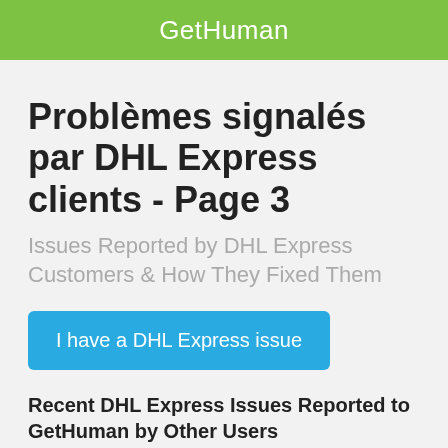GetHuman
Problèmes signalés par DHL Express clients - Page 3
Issues Reported by DHL Express Customers & How They Fixed Them
I have a DHL Express issue
Recent DHL Express Issues Reported to GetHuman by Other Users